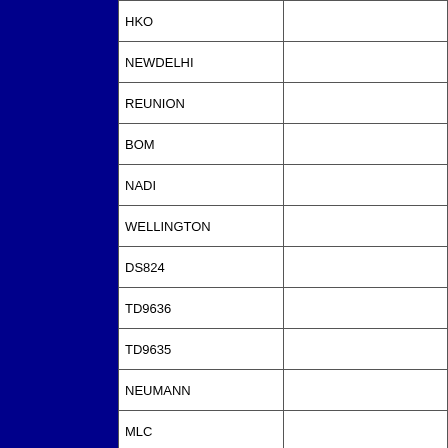|  |  |
| --- | --- |
| HKO |  |
| NEWDELHI |  |
| REUNION |  |
| BOM |  |
| NADI |  |
| WELLINGTON |  |
| DS824 |  |
| TD9636 |  |
| TD9635 |  |
| NEUMANN |  |
| MLC |  |
All available IBTrACS Data
| SEASON | BASIN | SUBBASIN | ISO_TIME__ |
| --- | --- | --- | --- |
| Year |  |  |  |
| 2000 | EP | MM | 2000-08-13 |
| 2000 | EP | MM |  |
| 2000 | EP | MM |  |